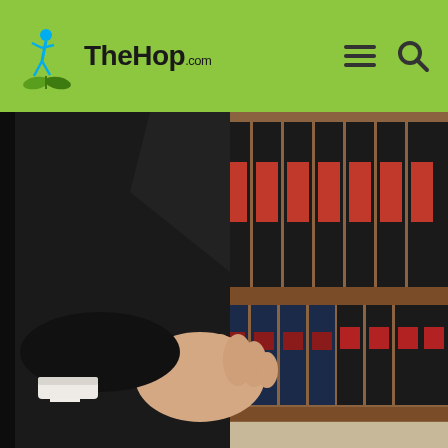TheHop.com
[Figure (photo): Person in a black suit with arms crossed, standing in front of a bookshelf filled with law books — black volumes with red labels on the upper shelf and dark blue/black volumes with red accents on the lower shelf.]